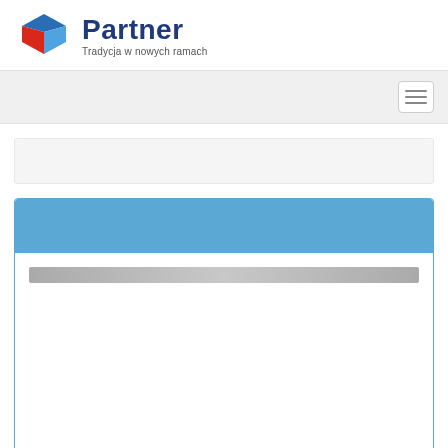[Figure (logo): Partner logo: geometric 3D cube icon in blue and red, with bold dark blue text 'Partner' and subtitle 'Tradycja w nowych ramach']
[Figure (screenshot): Navigation bar with hamburger menu icon on the right side]
[Figure (screenshot): Gray breadcrumb/search bar area]
[Figure (screenshot): Blue-header content card with white body area and a gray search/filter bar inside]